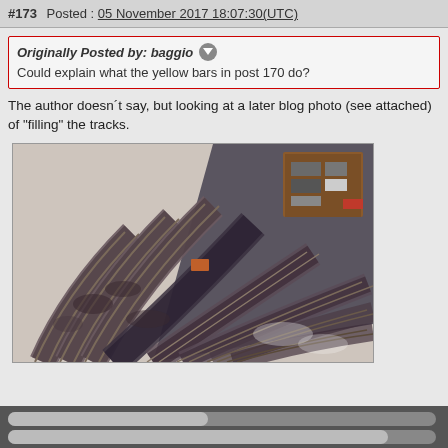#173  Posted : 05 November 2017 18:07:30(UTC)
Originally Posted by: baggio
Could explain what the yellow bars in post 170 do?
The author doesn´t say, but looking at a later blog photo (see attached) of "filling" the tracks.
[Figure (photo): Photograph of model railway track pieces fanned out on a beige surface, showing multiple curved and straight track sections with dark brown/purple coloring and fine gauge rail detail. A small wooden/red box with components is visible in the upper right corner.]